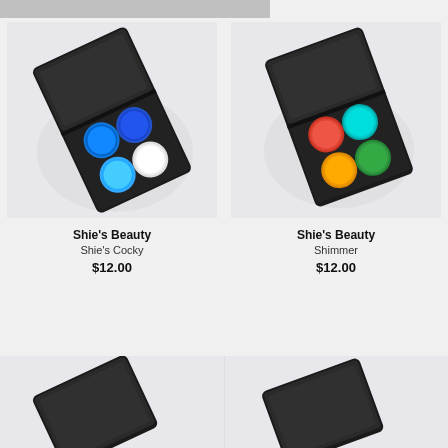[Figure (photo): Open black eyeshadow palette with four pans: two shades of blue, one lighter blue, and one white, arranged diagonally on white background]
Shie's Beauty
Shie's Cocky
$12.00
[Figure (photo): Open black eyeshadow palette with four pans: teal/blue, orange/gold, red/coral, and green, arranged diagonally on white background]
Shie's Beauty
Shimmer
$12.00
[Figure (photo): Partial view of open black eyeshadow palette, bottom portion only visible]
[Figure (photo): Partial view of open black eyeshadow palette, bottom portion only visible]